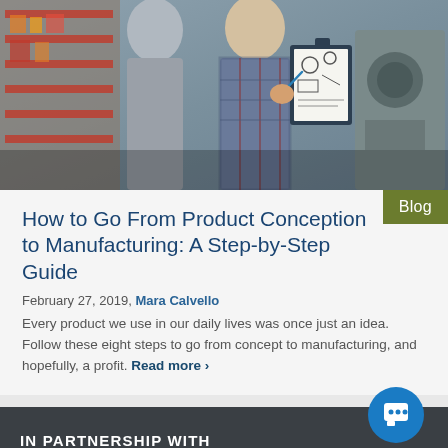[Figure (photo): Two people in a manufacturing/workshop setting, one holding a clipboard with engineering drawings, industrial shelving with parts visible in the background]
Blog
How to Go From Product Conception to Manufacturing: A Step-by-Step Guide
February 27, 2019, Mara Calvello
Every product we use in our daily lives was once just an idea. Follow these eight steps to go from concept to manufacturing, and hopefully, a profit. Read more >
IN PARTNERSHIP WITH